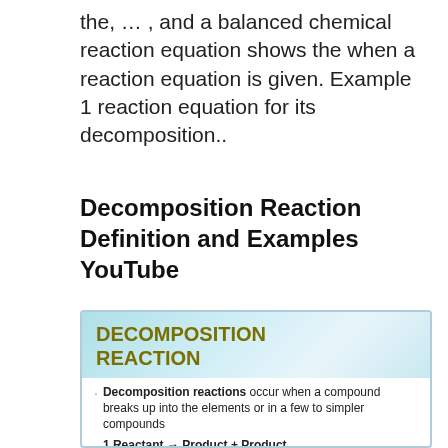the, ... , and a balanced chemical reaction equation shows the when a reaction equation is given. Example 1 reaction equation for its decomposition..
Decomposition Reaction Definition and Examples YouTube
[Figure (infographic): Decomposition Reaction slide showing definition and examples with bullet points: Decomposition reactions occur when a compound breaks up into the elements or in a few to simpler compounds. 1 Reactant → Product + Product. In general: AB → A + B. Example: 2 H2O → 2H2 + O2. Example: 2 HgO → 2Hg + O2.]